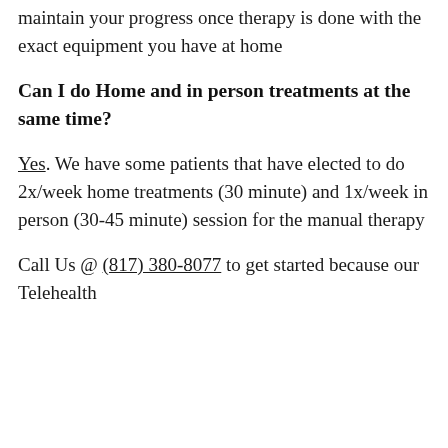maintain your progress once therapy is done with the exact equipment you have at home
Can I do Home and in person treatments at the same time?
Yes. We have some patients that have elected to do 2x/week home treatments (30 minute) and 1x/week in person (30-45 minute) session for the manual therapy
Call Us @ (817) 380-8077 to get started because our Telehealth